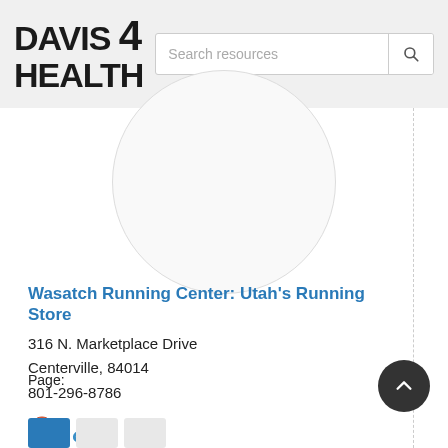DAVIS 4 HEALTH — Search resources
[Figure (illustration): Partial circle placeholder image, light gray outline, representing a location or resource image thumbnail]
Wasatch Running Center: Utah's Running Store
316 N. Marketplace Drive
Centerville, 84014
801-296-8786
[Figure (infographic): Location pin icon (orange/red) and chain link icon (blue) representing map and website links]
Page:
[Figure (infographic): Pagination buttons at bottom: first button active (blue), two inactive (gray)]